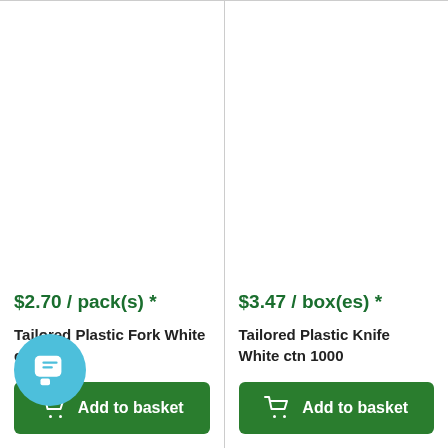$2.70 / pack(s) *
Tailored Plastic Fork White ctn 1000
Add to basket
$3.47 / box(es) *
Tailored Plastic Knife White ctn 1000
Add to basket